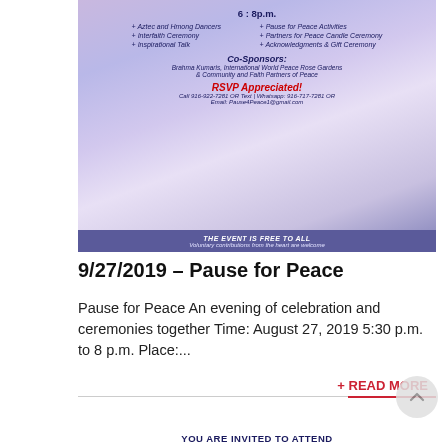[Figure (infographic): Pause for Peace event flyer with purple/lavender gradient background. Shows time 6:8 p.m., two columns of bullet points listing activities, Co-Sponsors section, RSVP information, and a dark blue footer band saying THE EVENT IS FREE TO ALL.]
9/27/2019 – Pause for Peace
Pause for Peace An evening of celebration and ceremonies together Time: August 27, 2019 5:30 p.m. to 8 p.m. Place:...
+ READ MORE
YOU ARE INVITED TO ATTEND